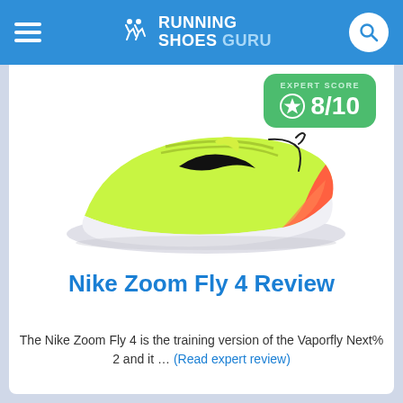Running Shoes Guru
[Figure (infographic): Expert score badge showing 8/10 with star icon on green rounded rectangle background. Label reads EXPERT SCORE.]
[Figure (photo): Nike Zoom Fly 4 running shoe in neon yellow-green with orange/coral heel detail and white sole, shown from the side profile against white background.]
Nike Zoom Fly 4 Review
The Nike Zoom Fly 4 is the training version of the Vaporfly Next% 2 and it … (Read expert review)